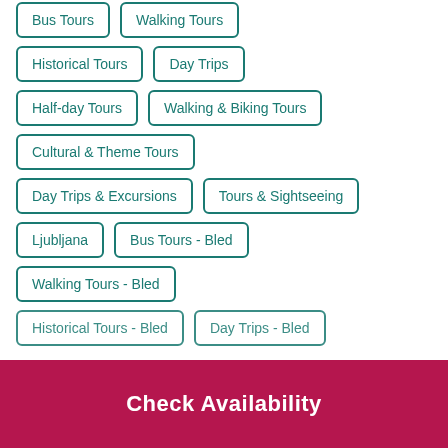Bus Tours
Walking Tours
Historical Tours
Day Trips
Half-day Tours
Walking & Biking Tours
Cultural & Theme Tours
Day Trips & Excursions
Tours & Sightseeing
Ljubljana
Bus Tours - Bled
Walking Tours - Bled
Historical Tours - Bled
Day Trips - Bled
Check Availability